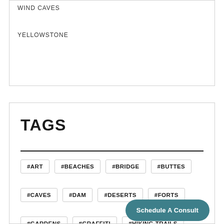WIND CAVES
YELLOWSTONE
TAGS
#ART
#BEACHES
#BRIDGE
#BUTTES
#CAVES
#DAM
#DESERTS
#FORTS
#GARDENS
#GRAFFITI
#HIKING TRAILS
#HISTORIC SITES
#ISLANDS
#LAKES
#LIGHTHOUSES
#MEMOR...
Schedule A Consult